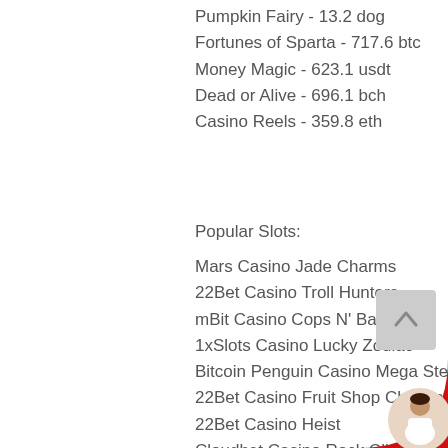Pumpkin Fairy - 13.2 dog
Fortunes of Sparta - 717.6 btc
Money Magic - 623.1 usdt
Dead or Alive - 696.1 bch
Casino Reels - 359.8 eth
Popular Slots:
Mars Casino Jade Charms
22Bet Casino Troll Hunters
mBit Casino Cops N' Bandits
1xSlots Casino Lucky Zodiac
Bitcoin Penguin Casino Mega Stellar
22Bet Casino Fruit Shop Christmas Edition
22Bet Casino Heist
Cloudbet Casino Rock Climber
Betchan Casino Zeus
Bspin.io Casino Fresh Fortune
Playamo Casino Diamond Cherries
mBit Casino Disco Bar 7s
BitStarz Casino Speed Cash
BitcoinCasino.us Travel Bug